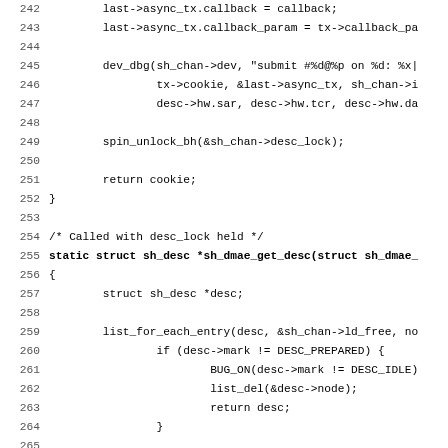[Figure (screenshot): Source code listing showing C code for Linux kernel DMA driver functions, lines 242-274, including sh_dmae_get_desc and sh_dmae_find_slave functions.]